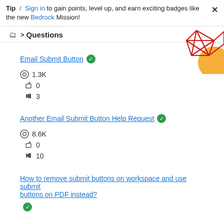Tip / Sign in to gain points, level up, and earn exciting badges like the new Bedrock Mission! ×
🗂 > Questions
Email Submit Button ✅
👁 1.3K
👍 0
↩ 3
Another Email Submit Button Help Request ✅
👁 8.6K
👍 0
↩ 10
How to remove submit buttons on workspace and use submit buttons on PDF instead? ✅